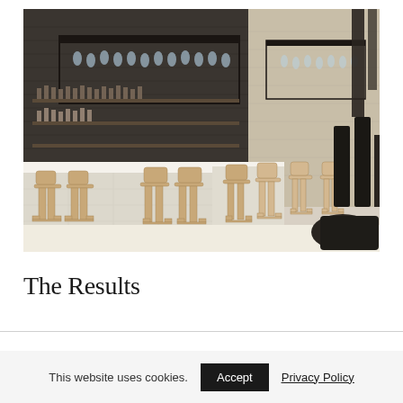[Figure (photo): Interior photograph of a modern hotel or restaurant bar. Dark brick walls, overhead hanging glass rack and shelving with bottles, a long illuminated white marble bar counter with wooden bar stools, pendant lights, and a lounge seating area with dark marble tables on the right.]
The Results
This website uses cookies.
Accept
Privacy Policy